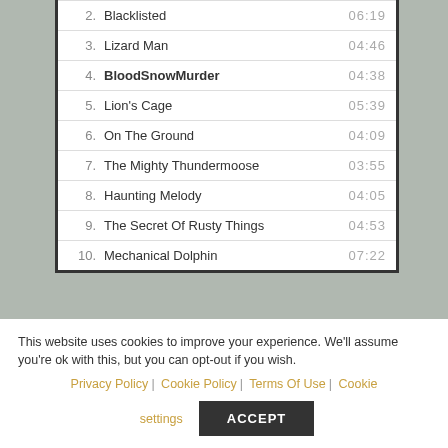2. Blacklisted — 06:19
3. Lizard Man — 04:46
4. BloodSnowMurder — 04:38
5. Lion's Cage — 05:39
6. On The Ground — 04:09
7. The Mighty Thundermoose — 03:55
8. Haunting Melody — 04:05
9. The Secret Of Rusty Things — 04:53
10. Mechanical Dolphin — 07:22
This website uses cookies to improve your experience. We'll assume you're ok with this, but you can opt-out if you wish. Privacy Policy | Cookie Policy | Terms Of Use | Cookie settings ACCEPT